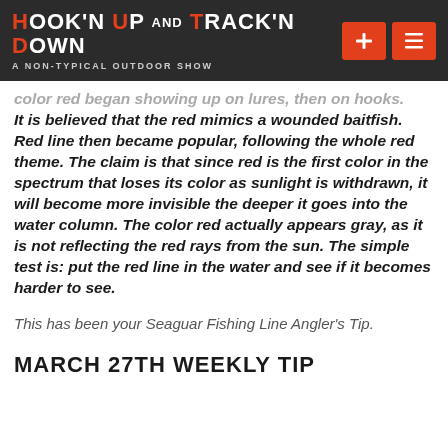Hook'n Up and Track'n Down - A Non-Typical Outdoor Show
color red began showing up on lures, then on hooks. It is believed that the red mimics a wounded baitfish. Red line then became popular, following the whole red theme. The claim is that since red is the first color in the spectrum that loses its color as sunlight is withdrawn, it will become more invisible the deeper it goes into the water column. The color red actually appears gray, as it is not reflecting the red rays from the sun. The simple test is: put the red line in the water and see if it becomes harder to see.
This has been your Seaguar Fishing Line Angler's Tip.
MARCH 27TH WEEKLY TIP